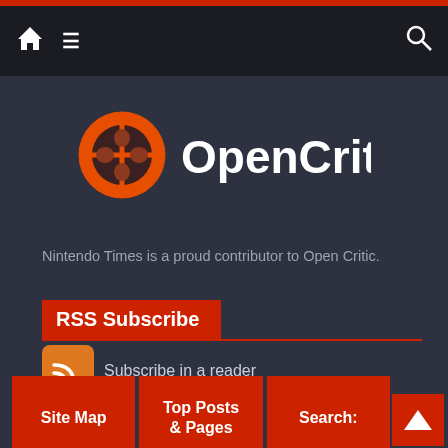Navigation bar with home, menu, and search icons
[Figure (logo): OpenCritic logo — orange circular icon with game controller cross/X pattern and white text 'OpenCritic']
Nintendo Times is a proud contributor to Open Critic.
RSS Subscribe
Subscribe in a reader
Site Map | Top Posts & Pages | Search: